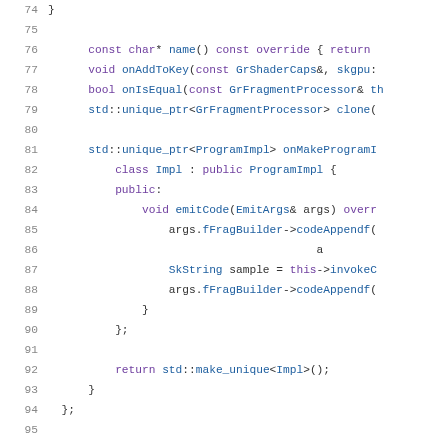[Figure (screenshot): Source code listing in C++ showing lines 74-95 of a file. The code shows class member function declarations and a nested class Impl with emitCode method. Syntax highlighting: keywords in purple, types/identifiers in blue, plain text in dark gray.]